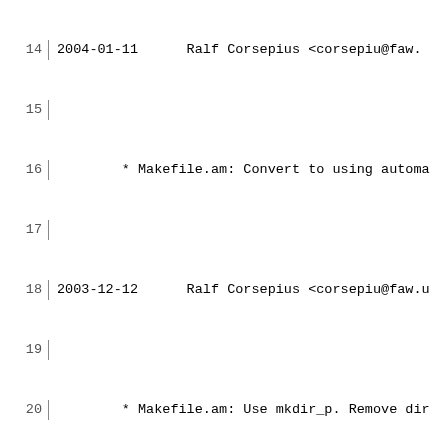Changelog log file entries showing dates, author Ralf Corsepius with email corsepiu@faw, and commit messages for Makefile.am and configure.ac changes, lines 14-43
14  2004-01-11  Ralf Corsepius <corsepiu@faw.
16          * Makefile.am: Convert to using automa
18  2003-12-12  Ralf Corsepius <corsepiu@faw.u
20          * Makefile.am: Use mkdir_p. Remove dir
22  2003-12-12  Ralf Corsepius <corsepiu@faw.u
24          * configure.ac: Require automake >= 1.
26  2003-12-01  Ralf Corsepius <corsepiu@faw.u
28          * Makefile.am: Remove TMPINSTALL_FILES
30  2003-11-30  Ralf Corsepius <corsepiu@faw.u
32          * Makefile.am: Add $(dirstamp) to prei
34  2003-11-30  Ralf Corsepius <corsepiu@faw.u
36          * Makefile.am: Add $(dirstamp) to prei
38  2003-11-23  Ralf Corsepius <corsepiu@faw.u
40          * Makefile.am: Don't use gmake rules f
42  2003-10-21  Ralf Corsepius <corsepiu@faw.u